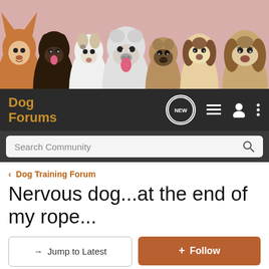[Figure (photo): Banner photo showing seven dog breeds lined up side by side (Corgi, Labrador, Jack Russell, Bulldog, Pug, Beagle, Basset Hound) against a pink background]
Dog Forums
Search Community
< Dog Training Forum
Nervous dog...at the end of my rope...
→ Jump to Latest
+ Follow
1 - 3 of 3 Posts